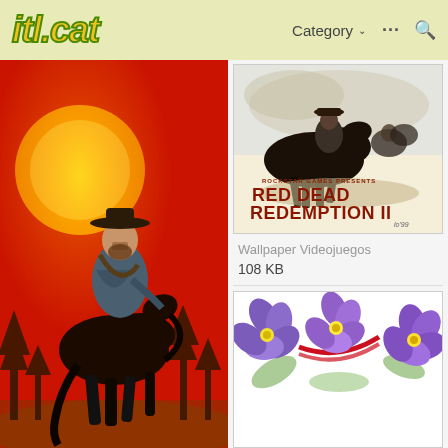itl.cat — Category ··· 🔍
[Figure (illustration): Red Dead Redemption 2 fan art: cowboy on black horse against red sunset background, with silhouette of trees at bottom]
[Figure (illustration): Red Dead Redemption II official poster art: Rockstar Games Presents Red Dead Redemption II, with horse and riders action scene]
Wallpaper Videojuegos
108 KB
[Figure (illustration): Floral wallpaper with purple/violet pansies and red ribbon on white background]